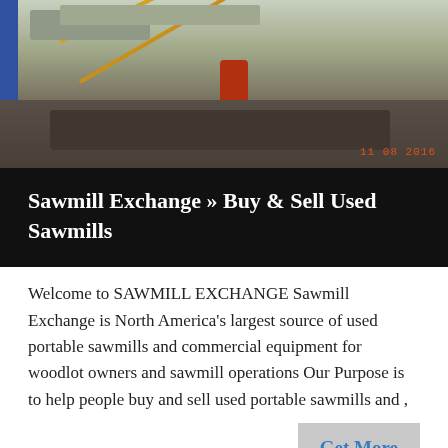[Figure (photo): Industrial sawmill machinery photograph with yellow cables and red equipment, timestamp visible in orange bottom-right]
Sawmill Exchange » Buy & Sell Used Sawmills
Welcome to SAWMILL EXCHANGE Sawmill Exchange is North America's largest source of used portable sawmills and commercial equipment for woodlot owners and sawmill operations Our Purpose is to help people buy and sell used portable sawmills and ,
[Figure (photo): Industrial sawmill equipment against a blue sky background]